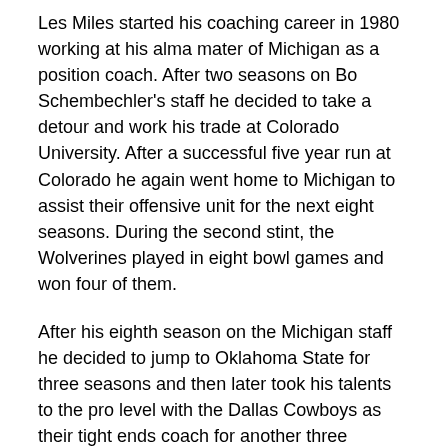Les Miles started his coaching career in 1980 working at his alma mater of Michigan as a position coach. After two seasons on Bo Schembechler's staff he decided to take a detour and work his trade at Colorado University. After a successful five year run at Colorado he again went home to Michigan to assist their offensive unit for the next eight seasons. During the second stint, the Wolverines played in eight bowl games and won four of them.
After his eighth season on the Michigan staff he decided to jump to Oklahoma State for three seasons and then later took his talents to the pro level with the Dallas Cowboys as their tight ends coach for another three seasons. During his time as the position coach for the Cowboys he was able to help contribute to one NFC East division title.